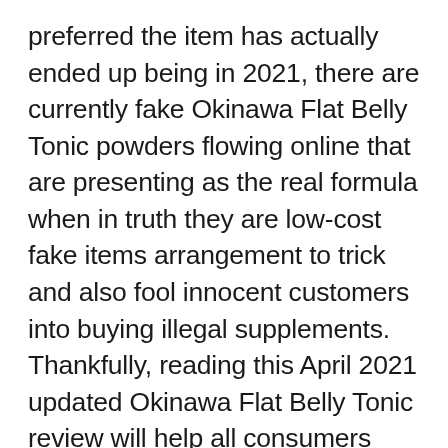preferred the item has actually ended up being in 2021, there are currently fake Okinawa Flat Belly Tonic powders flowing online that are presenting as the real formula when in truth they are low-cost fake items arrangement to trick and also fool innocent customers into buying illegal supplements. Thankfully, reading this April 2021 updated Okinawa Flat Belly Tonic review will help all consumers resorting to clients safely order straight from Mike Banner as well as the group directly responsible for this set of a kind weight reduction beverage dish. Not only will checking out the FlatBellyTonic.com make certain users are getting the genuine powder formula that is perfectly secure to take that is made and also evaluated in an FDA authorized as well